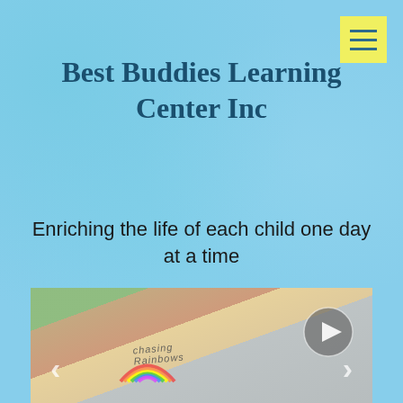Best Buddies Learning Center Inc
Enriching the life of each child one day at a time
[Figure (photo): A smiling child wearing a 'Chasing Rainbows' shirt with a rainbow graphic, shown in a slideshow/video player with play button, left arrow, and right arrow navigation controls. The thumbnail has a light blue/teal background tint.]